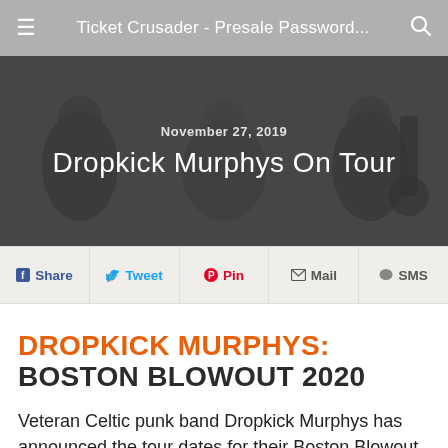Ticket Crusader - Presale Password...
[Figure (photo): Black and white photo of Dropkick Murphys band members with instruments, overlaid with date and tour title text]
November 27, 2019
Dropkick Murphys On Tour
Share  Tweet  Pin  Mail  SMS
DROPKICK MURPHYS: BOSTON BLOWOUT 2020
Veteran Celtic punk band Dropkick Murphys has announced the tour dates for their Boston Blowout in 2020 as has been their tradition every March. Set to